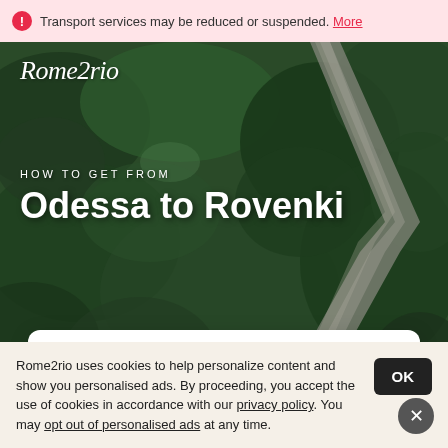Transport services may be reduced or suspended. More
[Figure (photo): Aerial view of dense green forest with a rocky river/road cutting through the center, photographed from above]
Rome2rio
HOW TO GET FROM
Odessa to Rovenki
TRAVEL FROM
Odessa, Ukraine
TO
Rome2rio uses cookies to help personalize content and show you personalised ads. By proceeding, you accept the use of cookies in accordance with our privacy policy. You may opt out of personalised ads at any time.